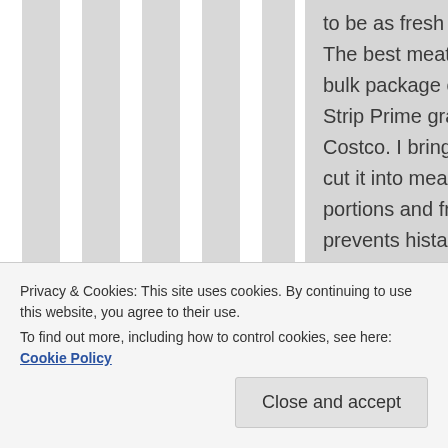to be as fresh as possible. The best meat for me is the bulk package of New York Strip Prime grade from Costco. I bring it home and cut it into meal size portions and freeze. This prevents histamines from forming. Then I thaw a portion each night in the fridge
Privacy & Cookies: This site uses cookies. By continuing to use this website, you agree to their use.
To find out more, including how to control cookies, see here: Cookie Policy